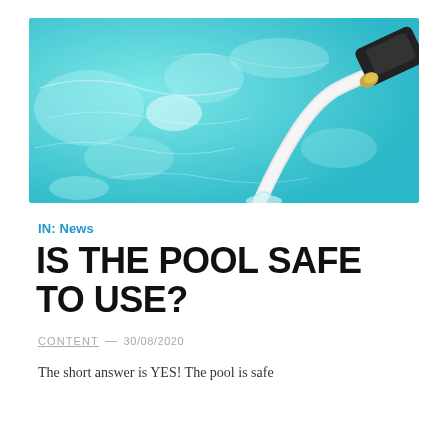[Figure (photo): Underwater/poolside view of a pool cleaning robot or hose device in bright turquoise blue pool water with light reflections]
IN: News
IS THE POOL SAFE TO USE?
CONTENT — 30/08/2020
The short answer is YES! The pool is safe